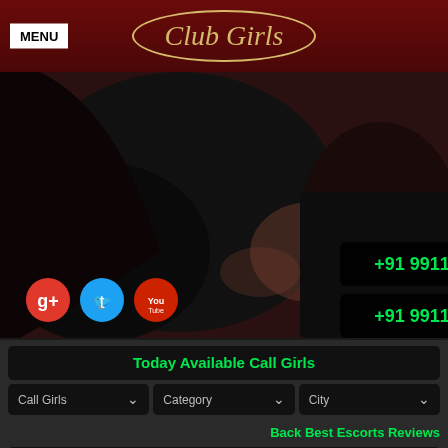MENU | Club Girls
[Figure (photo): Woman lying down in dark clothing, escort website hero image with phone numbers +91 9911829989 displayed twice in green text on black background. Social media icons (Google+, Twitter, YouTube) visible on left.]
Today Available Call Girls
Call Girls
Category
City
Back Best Escorts Reviews
[Figure (photo): Thumbnail photo of a young woman]
Zoya (20)